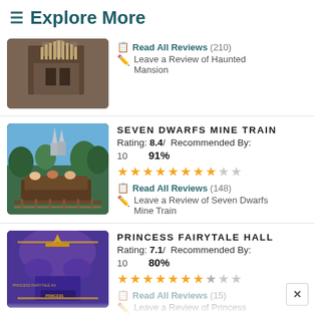≡ Explore More
[Figure (photo): Haunted Mansion exterior facade showing ornate architecture]
Read All Reviews (210)
Leave a Review of Haunted Mansion
[Figure (photo): Seven Dwarfs Mine Train roller coaster with castle in background]
SEVEN DWARFS MINE TRAIN
Rating: 8.4/ Recommended By:
10   91%
★★★★★★★★★☆☆
Read All Reviews (148)
Leave a Review of Seven Dwarfs Mine Train
[Figure (photo): Princess Fairytale Hall entrance with purple and gold decoration]
PRINCESS FAIRYTALE HALL
Rating: 7.1/ Recommended By:
10   80%
★★★★★★★☆☆☆
Read All Reviews (15)
Leave a Review of Princess